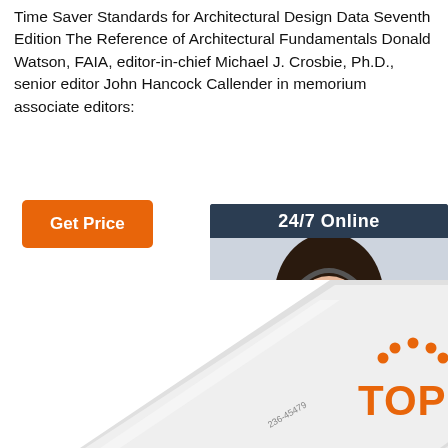Time Saver Standards for Architectural Design Data Seventh Edition The Reference of Architectural Fundamentals Donald Watson, FAIA, editor-in-chief Michael J. Crosbie, Ph.D., senior editor John Hancock Callender in memorium associate editors:
[Figure (other): Orange 'Get Price' button]
[Figure (other): 24/7 Online customer support ad widget with a woman wearing a headset, dark blue background, orange QUOTATION button, text 'Click here for free chat!']
[Figure (other): Bottom image showing two white angular book or product covers partially visible, with a red/orange 'TOP' logo with dots in the lower right corner]